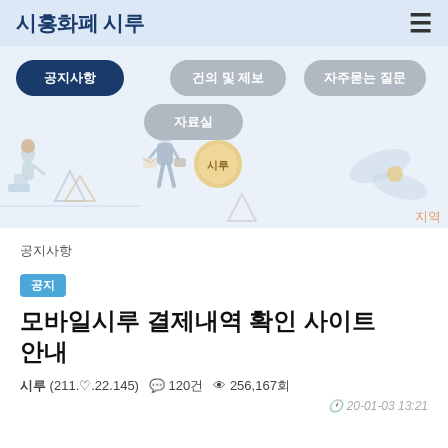시흥화폐 시루
[Figure (illustration): App navigation banner with illustrated figures of people walking and interacting, with navigation menu buttons: 공지사항 (active), 건의 및 제보, 자주묻는 질문, 자료실. Orange coin with 시루 text in center. Partial text 지역 visible at bottom right.]
공지사항
공지
모바일시루 결제내역 확인 사이트 안내
시루 (211.♡.22.145)  💬 120건  👁 256,167회
20-01-03 13:21